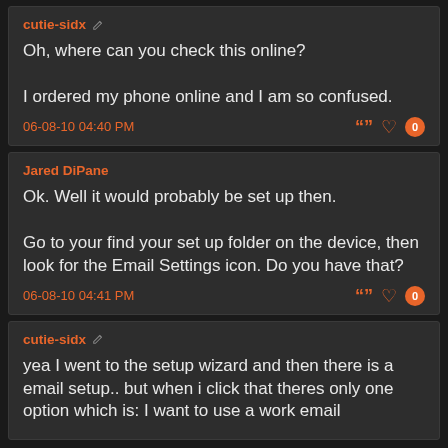cutie-sidx
Oh, where can you check this online?

I ordered my phone online and I am so confused.
06-08-10 04:40 PM
Jared DiPane
Ok. Well it would probably be set up then.

Go to your find your set up folder on the device, then look for the Email Settings icon. Do you have that?
06-08-10 04:41 PM
cutie-sidx
yea I went to the setup wizard and then there is a email setup.. but when i click that theres only one option which is: I want to use a work email